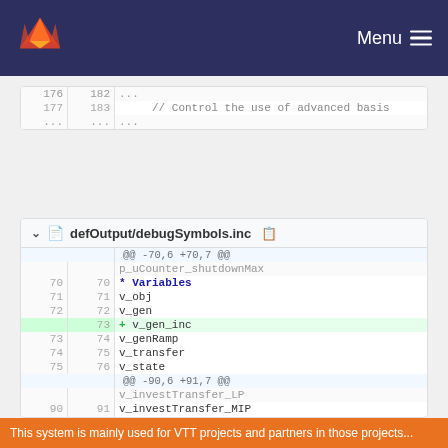Menu
176  182  ...
177  183      // Control the use of advanced basis
...  ...
defOutput/debugSymbols.inc
| old | new | code |
| --- | --- | --- |
| ... | ... | @@ -70,6 +70,7 @@ |
|  |  | p_uCounter_shutdownMax |
| 70 | 70 | * Variables |
| 71 | 71 | v_obj |
| 72 | 72 | v_gen |
|  | 73 | + v_gen_inc |
| 73 | 74 | v_genRamp |
| 74 | 75 | v_transfer |
| 75 | 76 | v_state |
| ... | ... | @@ -90,6 +91,7 @@ |
|  |  | v_investTransfer_LP |
| 90 | 91 | v_investTransfer_MIP |
| 91 | 92 | v_invest_LP |
This system is mainly used for VTT projects and partners in those projects...